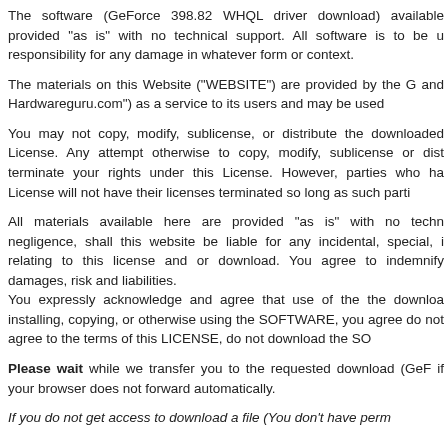The software (GeForce 398.82 WHQL driver download) available provided "as is" with no technical support. All software is to be u responsibility for any damage in whatever form or context.
The materials on this Website ("WEBSITE") are provided by the G and Hardwareguru.com") as a service to its users and may be used
You may not copy, modify, sublicense, or distribute the downloaded License. Any attempt otherwise to copy, modify, sublicense or dist terminate your rights under this License. However, parties who ha License will not have their licenses terminated so long as such parti
All materials available here are provided "as is" with no techn negligence, shall this website be liable for any incidental, special, i relating to this license and or download. You agree to indemnify damages, risk and liabilities. You expressly acknowledge and agree that use of the the downloa installing, copying, or otherwise using the SOFTWARE, you agree do not agree to the terms of this LICENSE, do not download the SO
Please wait while we transfer you to the requested download (GeF if your browser does not forward automatically.
If you do not get access to download a file (You don't have perm